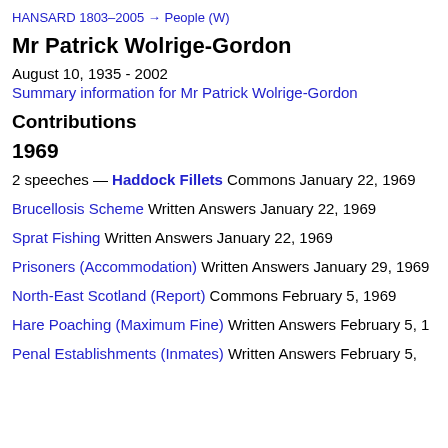HANSARD 1803–2005 → People (W)
Mr Patrick Wolrige-Gordon
August 10, 1935 - 2002
Summary information for Mr Patrick Wolrige-Gordon
Contributions
1969
2 speeches — Haddock Fillets Commons January 22, 1969
Brucellosis Scheme Written Answers January 22, 1969
Sprat Fishing Written Answers January 22, 1969
Prisoners (Accommodation) Written Answers January 29, 1969
North-East Scotland (Report) Commons February 5, 1969
Hare Poaching (Maximum Fine) Written Answers February 5, 1969
Penal Establishments (Inmates) Written Answers February 5,